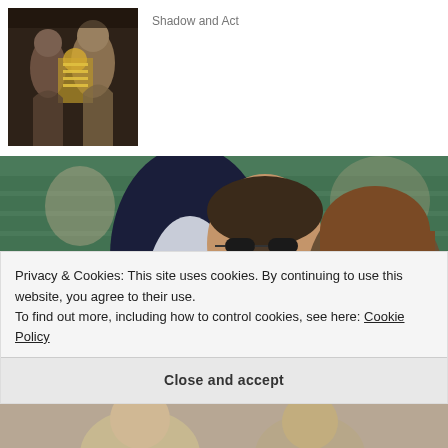[Figure (photo): Thumbnail image of costumed theatrical or fantasy figures with ornate golden decorations]
Shadow and Act
[Figure (photo): Man and woman in sunglasses seated at what appears to be a tennis event (Wimbledon), with green seating in background]
[Photos] Meet The Wives Of The Richest Men
Privacy & Cookies: This site uses cookies. By continuing to use this website, you agree to their use.
To find out more, including how to control cookies, see here: Cookie Policy
Close and accept
[Figure (photo): Partial bottom image showing people, cropped at bottom of page]